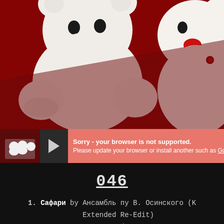[Figure (photo): Two white teddy bears with red accents peeking over a dark red surface background]
Sorry - your browser is not supported. Please update your browser or install another such as Goog
046
1. Сафари by Ансамбль пу В. Осинского (K Extended Re-Edit)
2. Operator by Tres